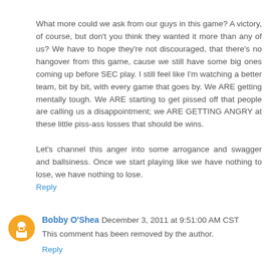What more could we ask from our guys in this game? A victory, of course, but don't you think they wanted it more than any of us? We have to hope they're not discouraged, that there's no hangover from this game, cause we still have some big ones coming up before SEC play. I still feel like I'm watching a better team, bit by bit, with every game that goes by. We ARE getting mentally tough. We ARE starting to get pissed off that people are calling us a disappointment; we ARE GETTING ANGRY at these little piss-ass losses that should be wins.

Let's channel this anger into some arrogance and swagger and ballsiness. Once we start playing like we have nothing to lose, we have nothing to lose.
Reply
Bobby O'Shea  December 3, 2011 at 9:51:00 AM CST
This comment has been removed by the author.
Reply